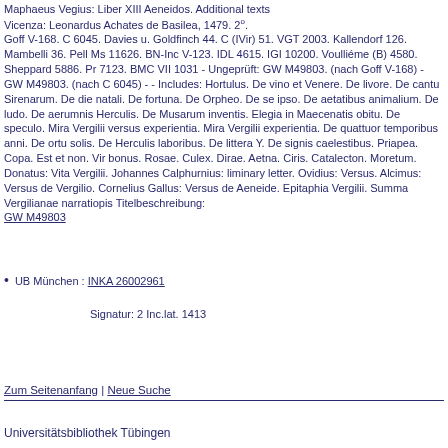Maphaeus Vegius: Liber XIII Aeneidos. Additional texts Vicenza: Leonardus Achates de Basilea, 1479. 2°. Goff V-168. C 6045. Davies u. Goldfinch 44. C (IVir) 51. VGT 2003. Kallendorf 126. Mambelli 36. Pell Ms 11626. BN-Inc V-123. IDL 4615. IGI 10200. Voulliéme (B) 4580. Sheppard 5886. Pr 7123. BMC VII 1031 - Ungeprüft: GW M49803. (nach Goff V-168) - GW M49803. (nach C 6045) - - Includes: Hortulus. De vino et Venere. De livore. De cantu Sirenarum. De die natali. De fortuna. De Orpheo. De se ipso. De aetatibus animalium. De ludo. De aerumnis Herculis. De Musarum inventis. Elegia in Maecenatis obitu. De speculo. Mira Vergilii versus experientia. Mira Vergilii experientia. De quattuor temporibus anni. De ortu solis. De Herculis laboribus. De littera Y. De signis caelestibus. Priapea. Copa. Est et non. Vir bonus. Rosae. Culex. Dirae. Aetna. Ciris. Catalecton. Moretum. Donatus: Vita Vergilii. Johannes Calphurnius: liminary letter. Ovidius: Versus. Alcimus: Versus de Vergilio. Cornelius Gallus: Versus de Aeneide. Epitaphia Vergilii. Summa Vergilianae narratiopis Titelbeschreibung: GW M49803
UB München : INKA 26002961
Signatur: 2 Inc.lat. 1413
Zum Seitenanfang | Neue Suche
Universitätsbibliothek Tübingen